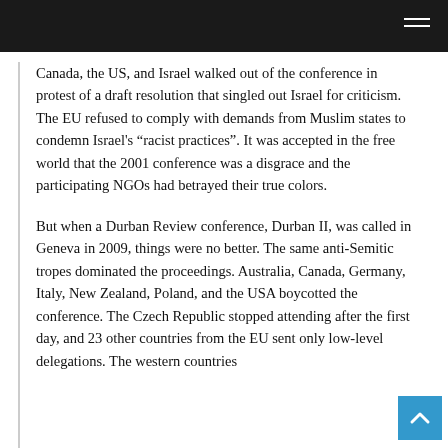Canada, the US, and Israel walked out of the conference in protest of a draft resolution that singled out Israel for criticism. The EU refused to comply with demands from Muslim states to condemn Israel's “racist practices”. It was accepted in the free world that the 2001 conference was a disgrace and the participating NGOs had betrayed their true colors.
But when a Durban Review conference, Durban II, was called in Geneva in 2009, things were no better. The same anti-Semitic tropes dominated the proceedings. Australia, Canada, Germany, Italy, New Zealand, Poland, and the USA boycotted the conference. The Czech Republic stopped attending after the first day, and 23 other countries from the EU sent only low-level delegations. The western countries